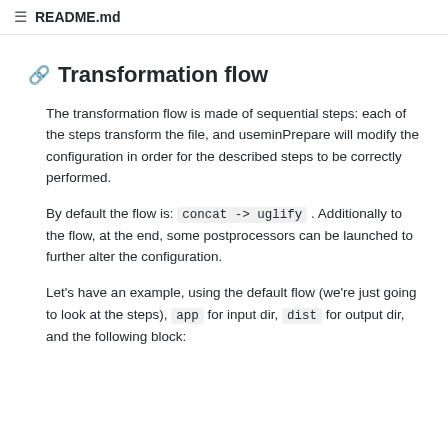README.md
Transformation flow
The transformation flow is made of sequential steps: each of the steps transform the file, and useminPrepare will modify the configuration in order for the described steps to be correctly performed.
By default the flow is: concat -> uglify . Additionally to the flow, at the end, some postprocessors can be launched to further alter the configuration.
Let's have an example, using the default flow (we're just going to look at the steps), app for input dir, dist for output dir, and the following block: